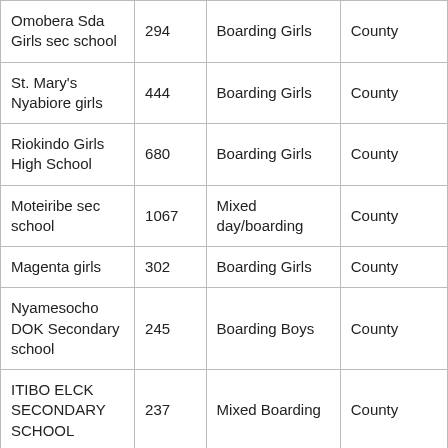| Omobera Sda Girls sec school | 294 | Boarding Girls | County |
| St. Mary's Nyabiore girls | 444 | Boarding Girls | County |
| Riokindo Girls High School | 680 | Boarding Girls | County |
| Moteiribe sec school | 1067 | Mixed day/boarding | County |
| Magenta girls | 302 | Boarding Girls | County |
| Nyamesocho DOK Secondary school | 245 | Boarding Boys | County |
| ITIBO ELCK SECONDARY SCHOOL | 237 | Mixed Boarding | County |
| Isamwera mixed | 300 | Mixed day and | County |